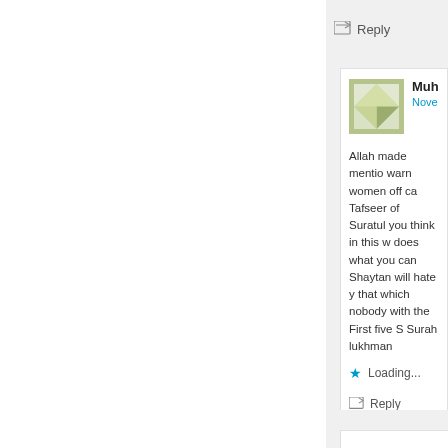Reply
Muh
Nove
Allah made mentio warn women off ca Tafseer of Suratul you think in this w does what you can Shaytan will hate y that which nobody with the First five S Surah lukhman
Loading...
Reply